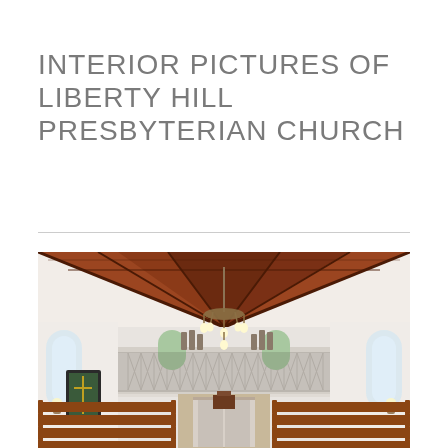INTERIOR PICTURES OF LIBERTY HILL PRESBYTERIAN CHURCH
[Figure (photo): Interior photograph of Liberty Hill Presbyterian Church showing wooden pew rows leading toward the back, a decorative wooden ceiling with exposed beams, a chandelier hanging from the ceiling, a balcony with ornate white railing, arched windows on both sides, and a large wall banner on the left.]